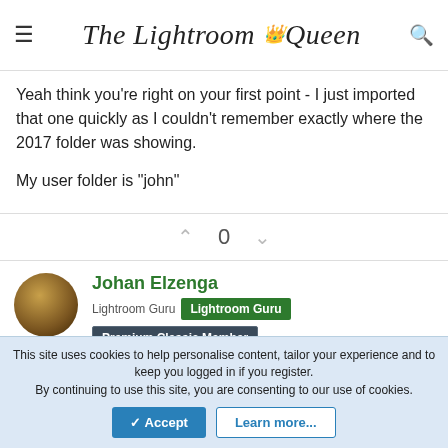The Lightroom Queen
Yeah think you're right on your first point - I just imported that one quickly as I couldn't remember exactly where the 2017 folder was showing.

My user folder is "john"
0
Johan Elzenga
Lightroom Guru  Lightroom Guru  Premium Classic Member
Premium Cloud Member
This site uses cookies to help personalise content, tailor your experience and to keep you logged in if you register.
By continuing to use this site, you are consenting to our use of cookies.